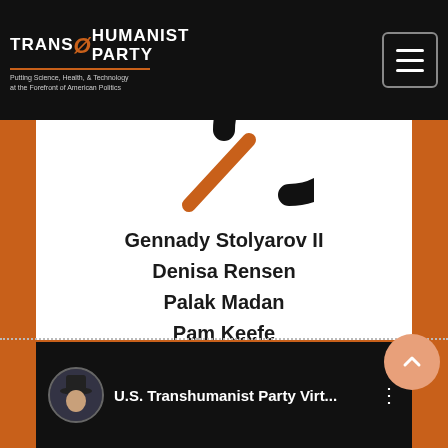Transhumanist Party – Putting Science, Health, & Technology at the Forefront of American Politics
[Figure (logo): Transhumanist Party logo graphic – partial black circle with orange diagonal slash]
Gennady Stolyarov II
Denisa Rensen
Palak Madan
Pam Keefe
Dinorah Delfin
Arin Vahanian
Tom Ross
B.J. Murphy
[Figure (screenshot): Video thumbnail showing U.S. Transhumanist Party Virt... with avatar of a man in a bowler hat]